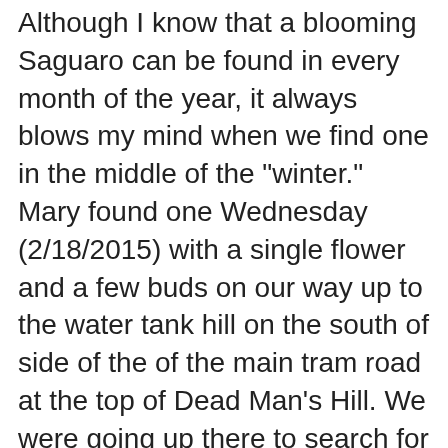Although I know that a blooming Saguaro can be found in every month of the year, it always blows my mind when we find one in the middle of the "winter." Mary found one Wednesday (2/18/2015) with a single flower and a few buds on our way up to the water tank hill on the south of side of the of the main tram road at the top of Dead Man's Hill. We were going up there to search for hill-topping butterflies, especially the Desert Orangetip. Just after the first sighting of the flowering Saguaro, Mary noticed a second one (these photos). It had many flower buds on the main stem with more buds and two flowers on the arm.
Now where are the White-winged Doves and Lesser Long-nosed Bats when you need them? To the local insects (including butterflies) that depend on the local plants (such as Orangetips on mustards), conditions that cause the plants to germinate and flower - such as warm and/or wet winters - are also cues to emerge from their pupas. However, for many migrating birds, the